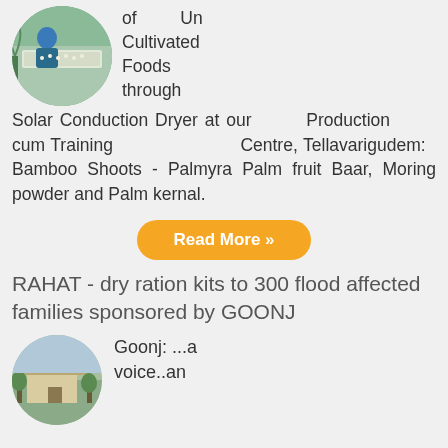[Figure (photo): Circular thumbnail image of a person working with trays of produce, likely bamboo shoots or similar food items at a production facility.]
of Un Cultivated Foods through Solar Conduction Dryer at our Production cum Training Centre, Tellavarigudem: Bamboo Shoots - Palmyra Palm fruit Baar, Moring powder and Palm kernal.
Read More »
RAHAT - dry ration kits to 300 flood affected families sponsored by GOONJ
[Figure (photo): Circular thumbnail image showing a building or shelter, likely related to flood relief activities by GOONJ.]
Goonj: ...a voice..an